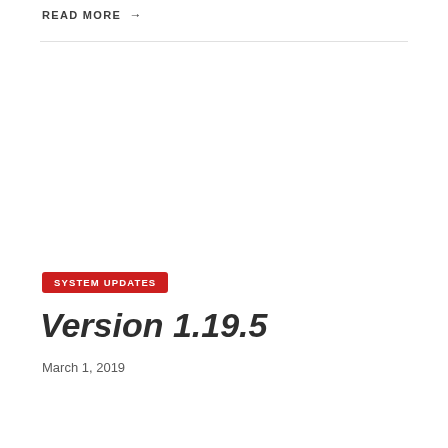READ MORE →
SYSTEM UPDATES
Version 1.19.5
March 1, 2019